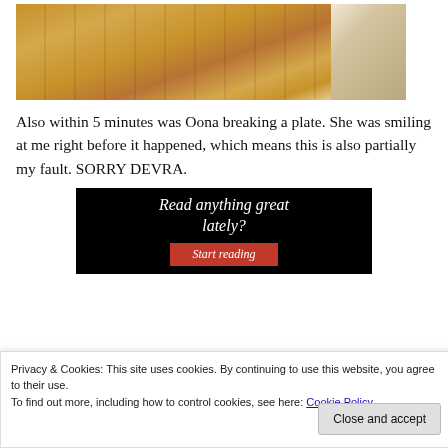[Figure (photo): Photo of hardwood flooring with wood planks visible, and a corner of a wall or door frame on the right side]
Also within 5 minutes was Oona breaking a plate. She was smiling at me right before it happened, which means this is also partially my fault. SORRY DEVRA.
[Figure (infographic): Black banner advertisement reading 'Read anything great lately?' with a red 'Start reading' button]
Privacy & Cookies: This site uses cookies. By continuing to use this website, you agree to their use.
To find out more, including how to control cookies, see here: Cookie Policy
Close and accept